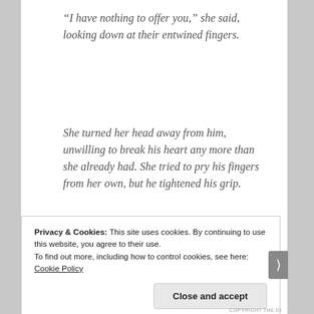“I have nothing to offer you,” she said, looking down at their entwined fingers.
She turned her head away from him, unwilling to break his heart any more than she already had. She tried to pry his fingers from her own, but he tightened his grip.
Privacy & Cookies: This site uses cookies. By continuing to use this website, you agree to their use.
To find out more, including how to control cookies, see here: Cookie Policy
Close and accept